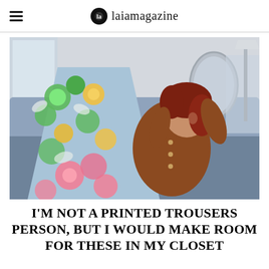laiamagazine
[Figure (photo): A young woman with red-brown hair lying back on a grey sofa, smiling upward, wearing a rust-brown button-up top and colorful floral printed trousers with pink, yellow, and green flowers on a light blue background. The setting appears to be a bright living room interior.]
I'M NOT A PRINTED TROUSERS PERSON, BUT I WOULD MAKE ROOM FOR THESE IN MY CLOSET